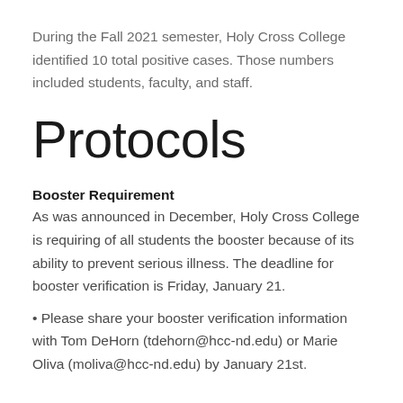During the Fall 2021 semester, Holy Cross College identified 10 total positive cases. Those numbers included students, faculty, and staff.
Protocols
Booster Requirement
As was announced in December, Holy Cross College is requiring of all students the booster because of its ability to prevent serious illness. The deadline for booster verification is Friday, January 21.
• Please share your booster verification information with Tom DeHorn (tdehorn@hcc-nd.edu) or Marie Oliva (moliva@hcc-nd.edu) by January 21st.